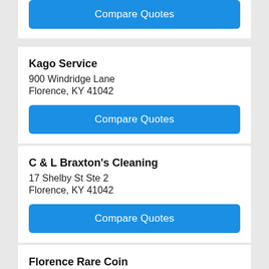Compare Quotes
Kago Service
900 Windridge Lane
Florence, KY 41042
Compare Quotes
C & L Braxton's Cleaning
17 Shelby St Ste 2
Florence, KY 41042
Compare Quotes
Florence Rare Coin
7503 Woodspoint Drive